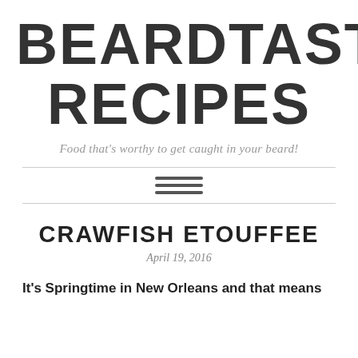BEARDTASTIC RECIPES
Food that's worthy to get caught in your beard!
CRAWFISH ETOUFFEE
April 19, 2016
It's Springtime in New Orleans and that means